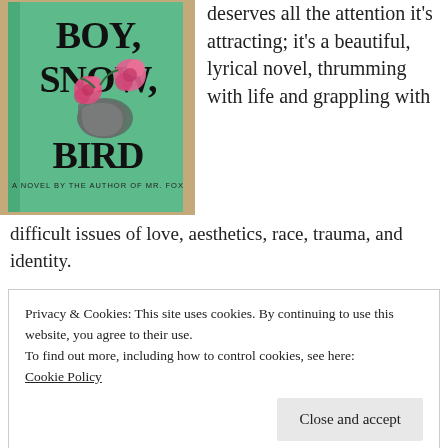[Figure (photo): A photograph of the book 'Boy, Snow, Bird' with a green cover showing roses and a snake, subtitled 'A Novel by the Author of Mr. Fox']
deserves all the attention it's attracting; it's a beautiful, lyrical novel, thrumming with life and grappling with difficult issues of love, aesthetics, race, trauma, and identity.
Privacy & Cookies: This site uses cookies. By continuing to use this website, you agree to their use.
To find out more, including how to control cookies, see here:
Cookie Policy
Close and accept
speak; it just seemed smarter not to. All of a